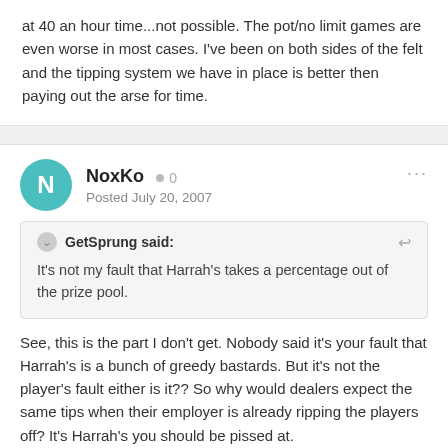at 40 an hour time...not possible. The pot/no limit games are even worse in most cases. I've been on both sides of the felt and the tipping system we have in place is better then paying out the arse for time.
NoxKo • 0
Posted July 20, 2007
GetSprung said:
It's not my fault that Harrah's takes a percentage out of the prize pool.
See, this is the part I don't get. Nobody said it's your fault that Harrah's is a bunch of greedy bastards. But it's not the player's fault either is it?? So why would dealers expect the same tips when their employer is already ripping the players off? It's Harrah's you should be pissed at.